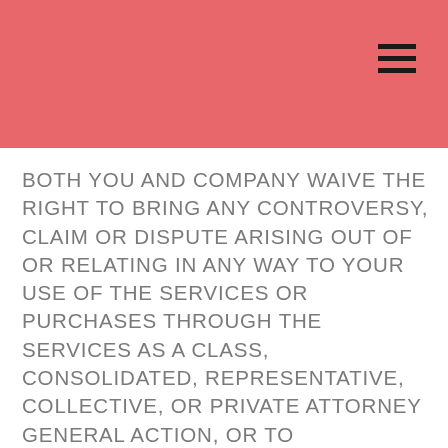BOTH YOU AND COMPANY WAIVE THE RIGHT TO BRING ANY CONTROVERSY, CLAIM OR DISPUTE ARISING OUT OF OR RELATING IN ANY WAY TO YOUR USE OF THE SERVICES OR PURCHASES THROUGH THE SERVICES AS A CLASS, CONSOLIDATED, REPRESENTATIVE, COLLECTIVE, OR PRIVATE ATTORNEY GENERAL ACTION, OR TO PARTICIPATE IN A CLASS, CONSOLIDATED, REPRESENTATIVE, COLLECTIVE, OR PRIVATE ATTORNEY GENERAL ACTION REGARDING ANY SUCH CLAIM BROUGHT BY ANYONE ELSE.